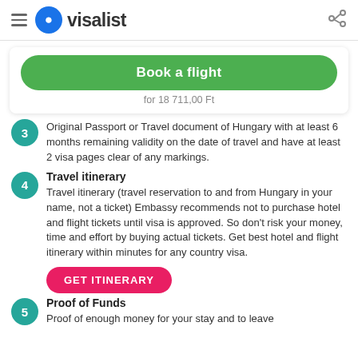visalist
Book a flight
for 18 711,00 Ft
Original Passport or Travel document of Hungary with at least 6 months remaining validity on the date of travel and have at least 2 visa pages clear of any markings.
Travel itinerary
Travel itinerary (travel reservation to and from Hungary in your name, not a ticket) Embassy recommends not to purchase hotel and flight tickets until visa is approved. So don't risk your money, time and effort by buying actual tickets. Get best hotel and flight itinerary within minutes for any country visa.
GET ITINERARY
Proof of Funds
Proof of enough money for your stay and to leave